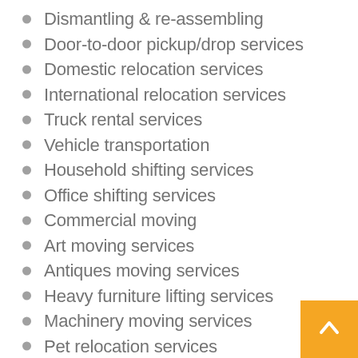Dismantling & re-assembling
Door-to-door pickup/drop services
Domestic relocation services
International relocation services
Truck rental services
Vehicle transportation
Household shifting services
Office shifting services
Commercial moving
Art moving services
Antiques moving services
Heavy furniture lifting services
Machinery moving services
Pet relocation services
Plant relocation services